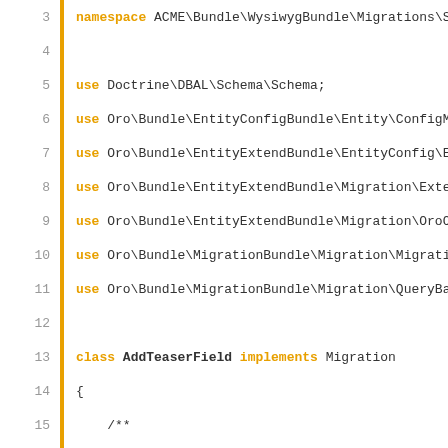[Figure (screenshot): PHP code snippet showing a migration class 'AddTeaserField' implementing Migration, with use statements and up() method containing schema table checks and column additions. Lines 3-29 visible.]